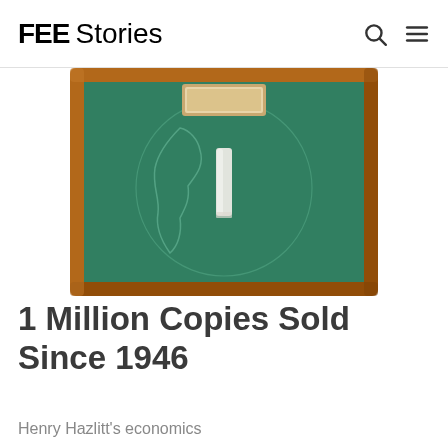FEE Stories
[Figure (illustration): A green chalkboard with a wooden frame, showing a chalk eraser and a faint world map outline drawn in chalk on the green surface. A small framed sign is visible at the top center of the chalkboard.]
1 Million Copies Sold Since 1946
Henry Hazlitt's economics